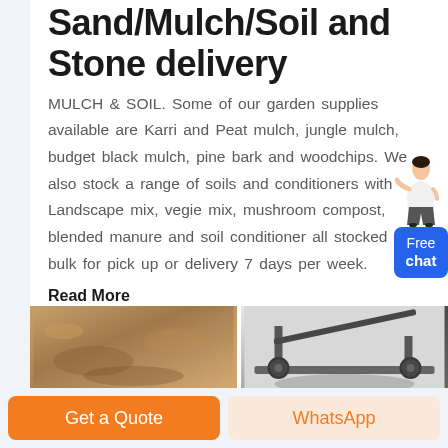Sand/Mulch/Soil and Stone delivery
MULCH & SOIL. Some of our garden supplies available are Karri and Peat mulch, jungle mulch, budget black mulch, pine bark and woodchips. We also stock a range of soils and conditioners with Landscape mix, vegie mix, mushroom compost, blended manure and soil conditioner all stocked in bulk for pick up or delivery 7 days per week.
Read More
[Figure (photo): Close-up photo of sandy/brown soil or mulch material]
[Figure (photo): Photo of dark stone or industrial equipment/conveyor belt structure]
Get a Quote
WhatsApp